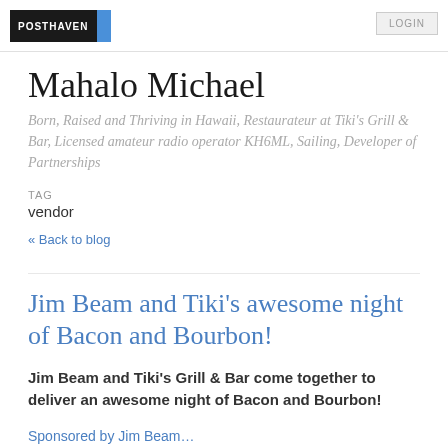POSTHAVEN | LOGIN
Mahalo Michael
Born, Raised and Thriving in Hawaii, Restaurateur at Tiki's Grill & Bar, Licensed amateur radio operator KH6ML, Sailing, Developer of Partnerships
TAG
vendor
« Back to blog
Jim Beam and Tiki's awesome night of Bacon and Bourbon!
Jim Beam and Tiki's Grill & Bar come together to deliver an awesome night of Bacon and Bourbon!
Sponsored by Jim Beam...